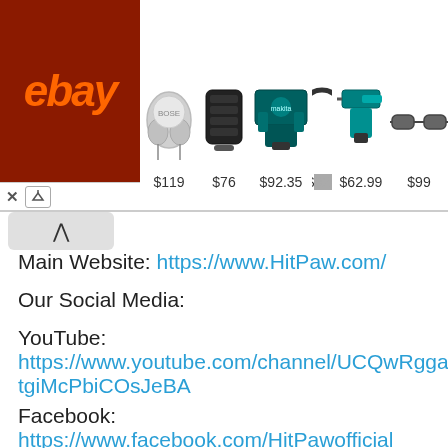[Figure (screenshot): eBay advertisement banner showing various products with prices: earbuds $119, portable speaker $76, power tool kit $92.35, headphones $128 (partially visible), power tool $62.99, sunglasses $99]
Main Website: https://www.HitPaw.com/
Our Social Media:
YouTube:
https://www.youtube.com/channel/UCQwRggaotgiMcPbiCOsJeBA
Facebook:
https://www.facebook.com/HitPawofficial
Twitter: https://twitter.com/HitPawofficial
Instagram: